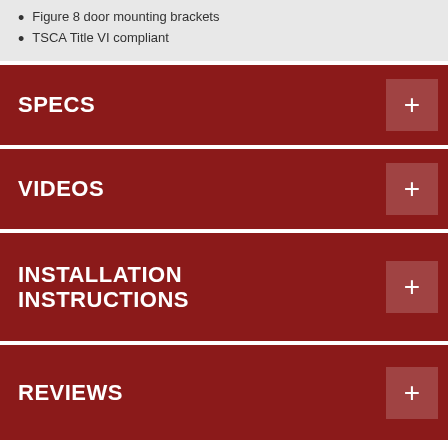Figure 8 door mounting brackets
TSCA Title VI compliant
SPECS
VIDEOS
INSTALLATION INSTRUCTIONS
REVIEWS
California Residents: WARNING: Cancer and Reproductive Harm